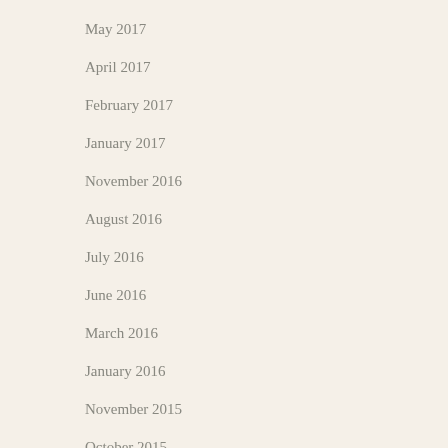May 2017
April 2017
February 2017
January 2017
November 2016
August 2016
July 2016
June 2016
March 2016
January 2016
November 2015
October 2015
September 2015
August 2015
July 2015
June 2015
May 2015